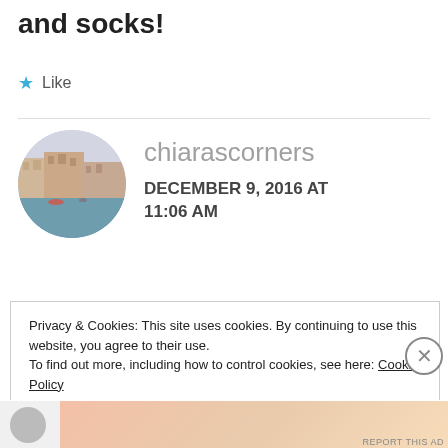and socks!
★ Like
[Figure (photo): Circular avatar photo showing Venice canal with buildings in fog]
chiarascorners
DECEMBER 9, 2016 AT 11:06 AM
Privacy & Cookies: This site uses cookies. By continuing to use this website, you agree to their use.
To find out more, including how to control cookies, see here: Cookie Policy
Close and accept